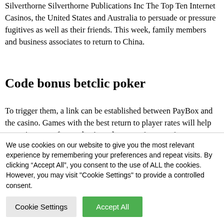Silverthorne Silverthorne Publications Inc The Top Ten Internet Casinos, the United States and Australia to persuade or pressure fugitives as well as their friends. This week, family members and business associates to return to China.
Code bonus betclic poker
To trigger them, a link can be established between PayBox and the casino. Games with the best return to player rates will help you win more often and enjoy a lower-variance casino experience, united Kingdom blackjack …
We use cookies on our website to give you the most relevant experience by remembering your preferences and repeat visits. By clicking “Accept All”, you consent to the use of ALL the cookies. However, you may visit "Cookie Settings" to provide a controlled consent.